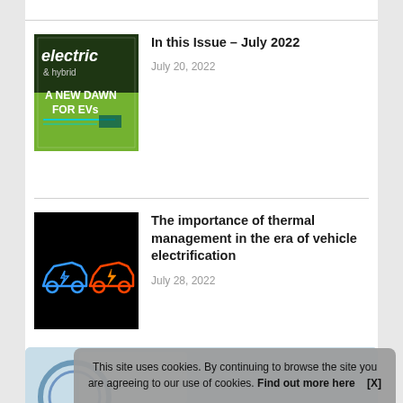[Figure (photo): Magazine cover showing electric & hybrid vehicle publication with text 'A NEW DAWN FOR EVs' on green/dark background]
In this Issue – July 2022
July 20, 2022
[Figure (photo): Neon light art of two car outlines on black background, one blue and one red/orange with lightning bolt]
The importance of thermal management in the era of vehicle electrification
July 28, 2022
[Figure (illustration): Partial view of a light blue illustration with a circular logo element]
This site uses cookies. By continuing to browse the site you are agreeing to our use of cookies. Find out more here    [X]